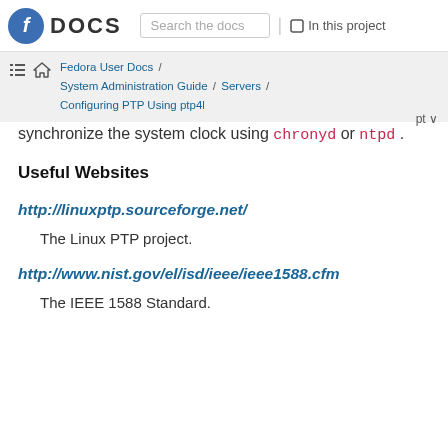Fedora DOCS | Search the docs | In this project
Fedora User Docs / System Administration Guide / Servers / Configuring PTP Using ptp4l | pt
synchronize the system clock using chronyd or ntpd .
Useful Websites
http://linuxptp.sourceforge.net/
The Linux PTP project.
http://www.nist.gov/el/isd/ieee/ieee1588.cfm
The IEEE 1588 Standard.